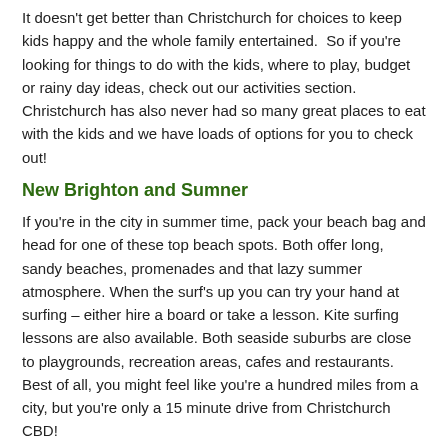It doesn't get better than Christchurch for choices to keep kids happy and the whole family entertained. So if you're looking for things to do with the kids, where to play, budget or rainy day ideas, check out our activities section. Christchurch has also never had so many great places to eat with the kids and we have loads of options for you to check out!
New Brighton and Sumner
If you're in the city in summer time, pack your beach bag and head for one of these top beach spots. Both offer long, sandy beaches, promenades and that lazy summer atmosphere. When the surf's up you can try your hand at surfing – either hire a board or take a lesson. Kite surfing lessons are also available. Both seaside suburbs are close to playgrounds, recreation areas, cafes and restaurants. Best of all, you might feel like you're a hundred miles from a city, but you're only a 15 minute drive from Christchurch CBD!
Lyttelton Harbour